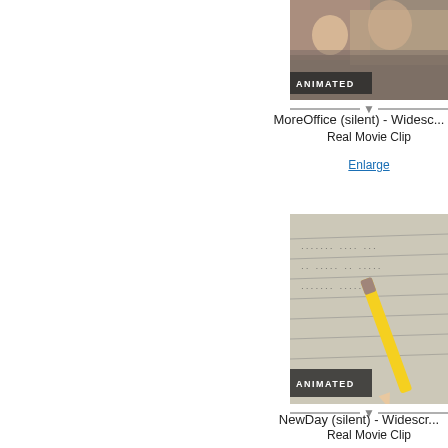[Figure (screenshot): Video thumbnail with 'ANIMATED' badge overlay showing people in an office scene, partially cropped at top]
MoreOffice (silent) - Widesc...
Real Movie Clip
Enlarge
[Figure (screenshot): Video thumbnail with 'ANIMATED' badge overlay showing a pencil on notebook paper]
NewDay (silent) - Widescr...
Real Movie Clip
Enlarge
[Figure (screenshot): Video thumbnail partially visible at bottom of page, showing colorful graphics]